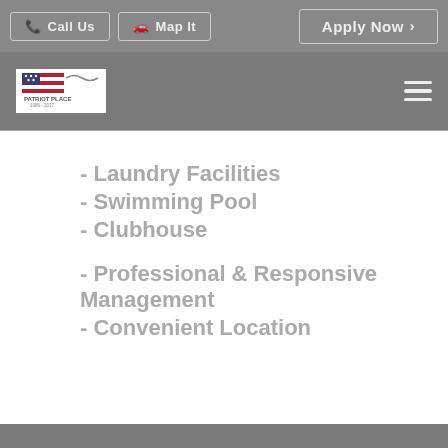Call Us | Map It | Apply Now
[Figure (logo): Patriot Place logo with American flag graphic]
- Laundry Facilities
- Swimming Pool
- Clubhouse
- Professional & Responsive Management
- Convenient Location